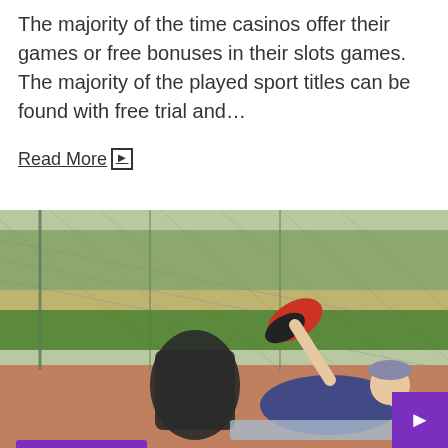The majority of the time casinos offer their games or free bonuses in their slots games. The majority of the played sport titles can be found with free trial and…
Read More →
[Figure (photo): A man exercising outdoors on the ground near a chain-link fence, with a backpack beside him. Date badge 'April 23, 2020' overlaid in purple.]